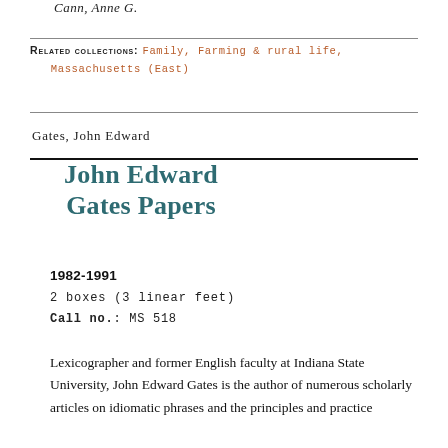Cann, Anne G.
RELATED COLLECTIONS: Family, Farming & rural life, Massachusetts (East)
Gates, John Edward
John Edward Gates Papers
1982-1991
2 boxes (3 linear feet)
Call no.: MS 518
Lexicographer and former English faculty at Indiana State University, John Edward Gates is the author of numerous scholarly articles on idiomatic phrases and the principles and practice